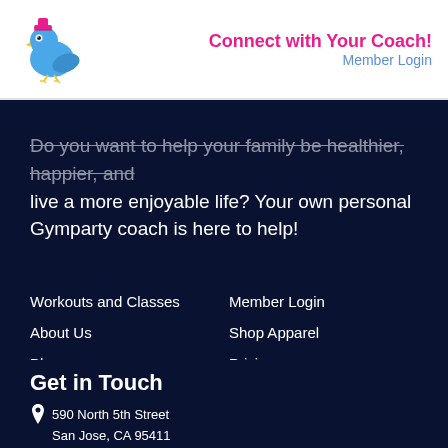Connect with Your Coach! Member Login
Do you want to help your family be healthier, happier, and live a more enjoyable life? Your own personal Gymparty coach is here to help!
Workouts and Classes
Member Login
About Us
Shop Apparel
Blog
Pricing
Privacy Policy
Terms of Service
Get in Touch
590 North 5th Street